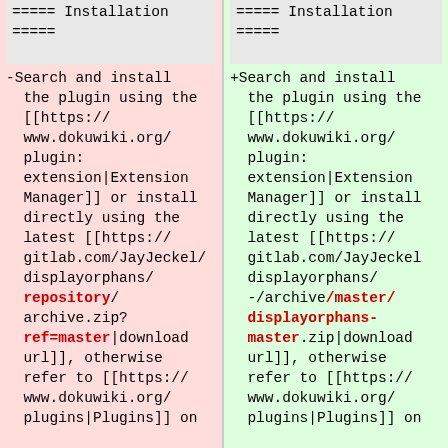===== Installation =====
-Search and install the plugin using the [[https://www.dokuwiki.org/plugin:extension|Extension Manager]] or install directly using the latest [[https://gitlab.com/JayJeckel/displayorphans/repository/-/archive?ref=master|download url]], otherwise refer to [[https://www.dokuwiki.org/plugins|Plugins]] on
===== Installation =====
+Search and install the plugin using the [[https://www.dokuwiki.org/plugin:extension|Extension Manager]] or install directly using the latest [[https://gitlab.com/JayJeckel/displayorphans/-/archive/master/displayorphans-master.zip|download url]], otherwise refer to [[https://www.dokuwiki.org/plugins|Plugins]] on